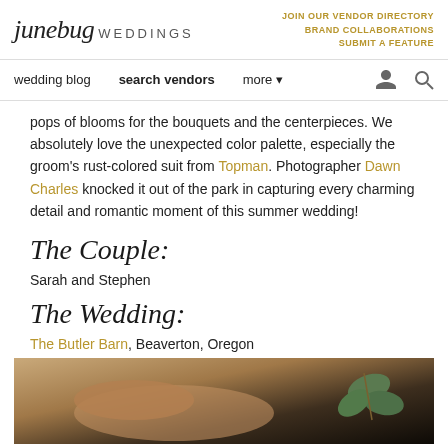junebug WEDDINGS | JOIN OUR VENDOR DIRECTORY | BRAND COLLABORATIONS | SUBMIT A FEATURE
wedding blog | search vendors | more
pops of blooms for the bouquets and the centerpieces. We absolutely love the unexpected color palette, especially the groom's rust-colored suit from Topman. Photographer Dawn Charles knocked it out of the park in capturing every charming detail and romantic moment of this summer wedding!
The Couple:
Sarah and Stephen
The Wedding:
The Butler Barn, Beaverton, Oregon
[Figure (photo): Close-up photo of brown leather shoes with a green eucalyptus sprig on a dark background]